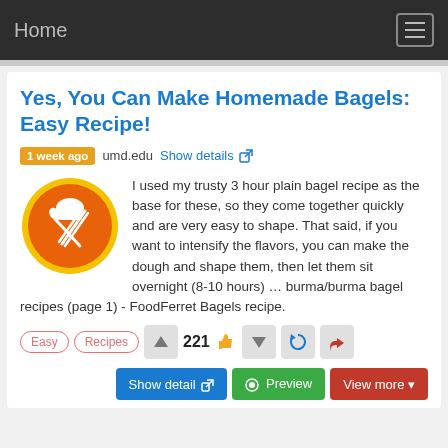Home
Yes, You Can Make Homemade Bagels: Easy Recipe!
1 week ago  umd.edu  Show details
I used my trusty 3 hour plain bagel recipe as the base for these, so they come together quickly and are very easy to shape. That said, if you want to intensify the flavors, you can make the dough and shape them, then let them sit overnight (8-10 hours) … burma/burma bagel recipes (page 1) - FoodFerret Bagels recipe.
Easy
Recipes
221
Show detail  Preview  View more